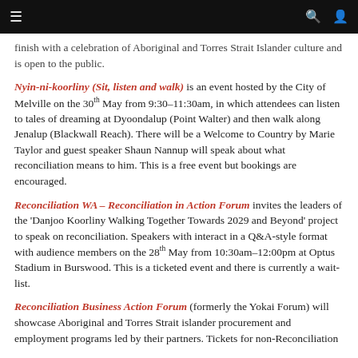≡  [navigation header bar with search and user icons]
finish with a celebration of Aboriginal and Torres Strait Islander culture and is open to the public.
Nyin-ni-koorliny (Sit, listen and walk) is an event hosted by the City of Melville on the 30th May from 9:30–11:30am, in which attendees can listen to tales of dreaming at Dyoondalup (Point Walter) and then walk along Jenalup (Blackwall Reach). There will be a Welcome to Country by Marie Taylor and guest speaker Shaun Nannup will speak about what reconciliation means to him. This is a free event but bookings are encouraged.
Reconciliation WA – Reconciliation in Action Forum invites the leaders of the 'Danjoo Koorliny Walking Together Towards 2029 and Beyond' project to speak on reconciliation. Speakers with interact in a Q&A-style format with audience members on the 28th May from 10:30am–12:00pm at Optus Stadium in Burswood. This is a ticketed event and there is currently a wait-list.
Reconciliation Business Action Forum (formerly the Yokai Forum) will showcase Aboriginal and Torres Strait islander procurement and employment programs led by their partners. Tickets for non-Reconciliation